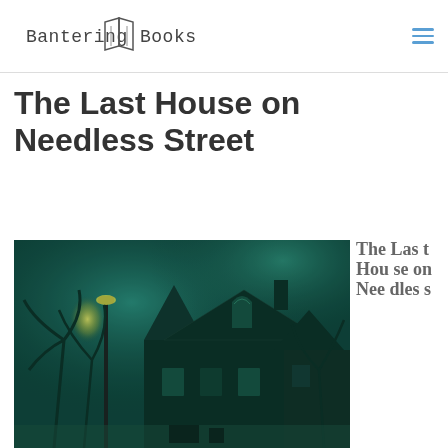Bantering Books
The Last House on Needless Street
[Figure (photo): Dark, eerie illustration of a gothic Victorian house at night with teal/green atmospheric lighting, bare trees, and a glowing street lamp.]
The Last House on Needles s